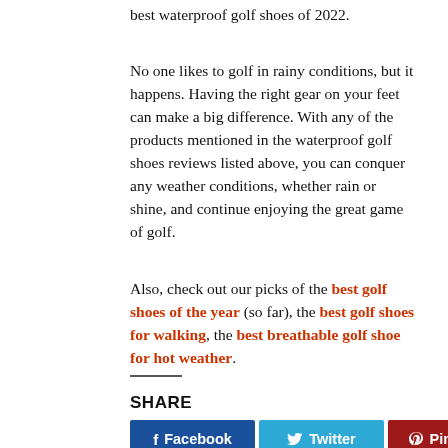best waterproof golf shoes of 2022.
No one likes to golf in rainy conditions, but it happens. Having the right gear on your feet can make a big difference. With any of the products mentioned in the waterproof golf shoes reviews listed above, you can conquer any weather conditions, whether rain or shine, and continue enjoying the great game of golf.
Also, check out our picks of the best golf shoes of the year (so far), the best golf shoes for walking, the best breathable golf shoe for hot weather.
SHARE
[Figure (other): Social share buttons: Facebook, Twitter, Pinterest]